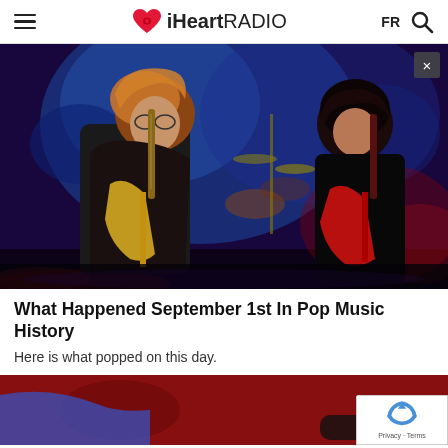iHeartRADIO | FR
[Figure (photo): Two male musicians playing electric guitars on a concert stage with dramatic blue and red lighting. Left musician has blonde/reddish hair and wears a black leather jacket, playing a yellow Telecaster-style guitar. Right musician has dark curly hair and plays a red electric guitar. Stage backdrop features blue textured lighting. A close button (×) is visible in the upper right of the image.]
What Happened September 1st In Pop Music History
Here is what popped on this day.
[Figure (photo): Partial view of a second article photo showing people on a red carpet or surface, cropped at the bottom of the page. A reCAPTCHA badge is overlaid in the bottom-right corner.]